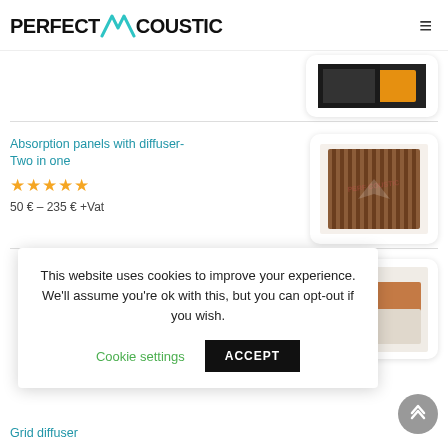PERFECT ACOUSTIC
[Figure (photo): Partial view of a product image at top right (dark rectangular acoustic panel with orange accent)]
Absorption panels with diffuser- Two in one
★★★★★
50 € – 235 € +Vat
[Figure (photo): Wooden acoustic diffuser panel with vertical slats and logo watermark]
This website uses cookies to improve your experience. We'll assume you're ok with this, but you can opt-out if you wish.
Cookie settings    ACCEPT
[Figure (photo): Acoustic foam panels in beige and terracotta colors, partially visible]
Grid diffuser